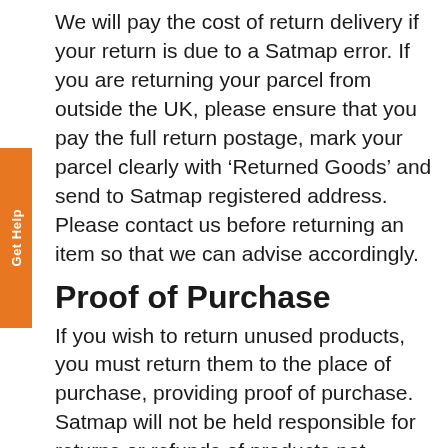We will pay the cost of return delivery if your return is due to a Satmap error. If you are returning your parcel from outside the UK, please ensure that you pay the full return postage, mark your parcel clearly with ‘Returned Goods’ and send to Satmap registered address. Please contact us before returning an item so that we can advise accordingly.
Proof of Purchase
If you wish to return unused products, you must return them to the place of purchase, providing proof of purchase. Satmap will not be held responsible for returns or refunds of products not purchased from